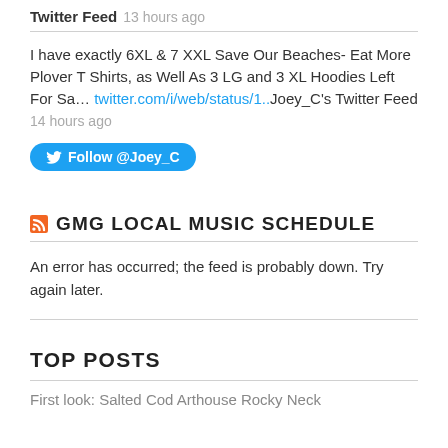Twitter Feed 13 hours ago
I have exactly 6XL & 7 XXL Save Our Beaches- Eat More Plover T Shirts, as Well As 3 LG and 3 XL Hoodies Left For Sa… twitter.com/i/web/status/1.. Joey_C's Twitter Feed
14 hours ago
[Figure (other): Twitter Follow button with bird icon: Follow @Joey_C]
GMG LOCAL MUSIC SCHEDULE
An error has occurred; the feed is probably down. Try again later.
TOP POSTS
First look: Salted Cod Arthouse Rocky Neck